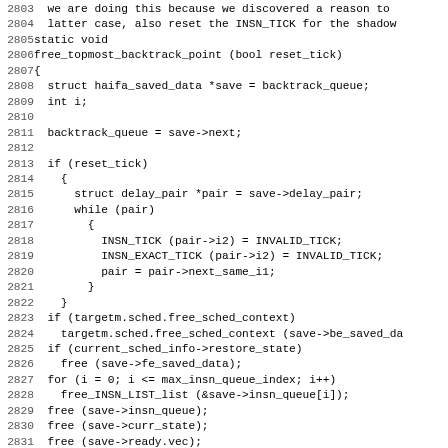Source code listing lines 2803-2834, C code for free_topmost_backtrack_point function